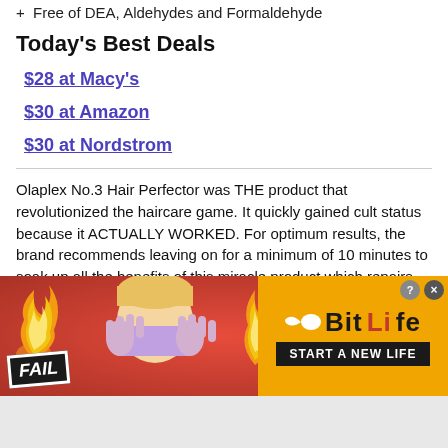+ Free of DEA, Aldehydes and Formaldehyde
Today's Best Deals
$28 at Macy's
$30 at Amazon
$30 at Nordstrom
Olaplex No.3 Hair Perfector was THE product that revolutionized the haircare game. It quickly gained cult status because it ACTUALLY WORKED. For optimum results, the brand recommends leaving on for a minimum of 10 minutes to soak up all the benefits of this miracle product which repairs and strengthens broken hair bonds.
[Figure (screenshot): BitLife mobile game advertisement banner with red/fire background, 'FAIL' badge, cartoon blonde character face-palming, flame graphics, sperm icon, BitLife logo in yellow/black, and 'START A NEW LIFE' text. Includes close (x) and help (?) buttons.]